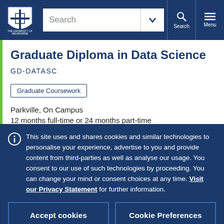University of Melbourne — navigation bar with logo, search, and menu
Graduate Diploma in Data Science GD-DATASC
Graduate Coursework
Parkville, On Campus
12 months full-time or 24 months part-time
This site uses and shares cookies and similar technologies to personalise your experience, advertise to you and provide content from third-parties as well as analyse our usage. You consent to our use of such technologies by proceeding. You can change your mind or consent choices at any time. Visit our Privacy Statement for further information.
Accept cookies
Cookie Preferences